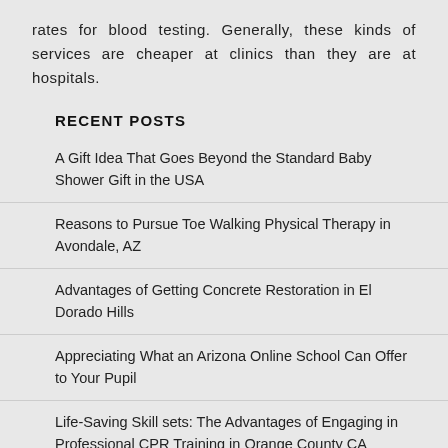rates for blood testing. Generally, these kinds of services are cheaper at clinics than they are at hospitals.
RECENT POSTS
A Gift Idea That Goes Beyond the Standard Baby Shower Gift in the USA
Reasons to Pursue Toe Walking Physical Therapy in Avondale, AZ
Advantages of Getting Concrete Restoration in El Dorado Hills
Appreciating What an Arizona Online School Can Offer to Your Pupil
Life-Saving Skill sets: The Advantages of Engaging in Professional CPR Training in Orange County CA